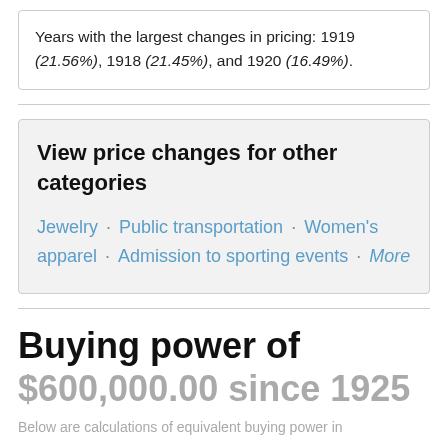Years with the largest changes in pricing: 1919 (21.56%), 1918 (21.45%), and 1920 (16.49%).
View price changes for other categories
Jewelry · Public transportation · Women's apparel · Admission to sporting events · More
Buying power of $600,000.00 since 1925
Below are calculations of equivalent buying power in